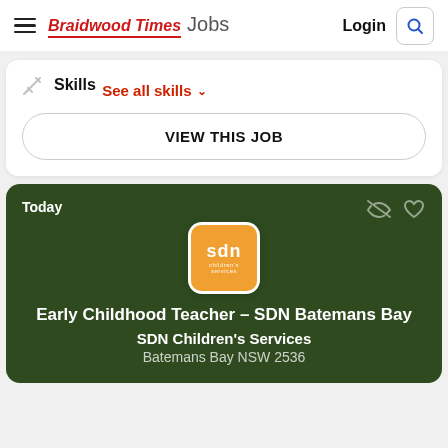Braidwood Times Jobs  Login
Skills
See all skills
VIEW THIS JOB
Today
Early Childhood Teacher - SDN Batemans Bay
SDN Children's Services
Batemans Bay NSW 2536